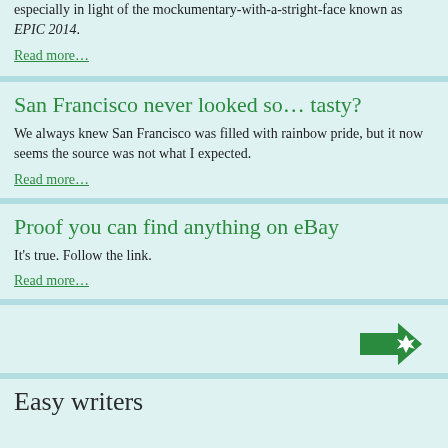especially in light of the mockumentary-with-a-stright-face known as EPIC 2014.
Read more…
San Francisco never looked so… tasty?
We always knew San Francisco was filled with rainbow pride, but it now seems the source was not what I expected.
Read more…
Proof you can find anything on eBay
It's true. Follow the link.
Read more…
[Figure (illustration): Green arrow icon pointing right with a star/sparkle on it]
Easy writers